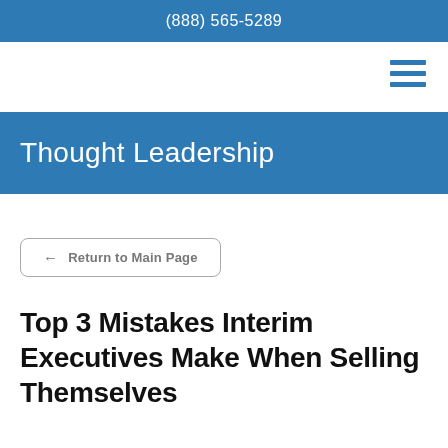(888) 565-5289
[Figure (other): Hamburger menu icon with three horizontal blue lines]
Thought Leadership
← Return to Main Page
Top 3 Mistakes Interim Executives Make When Selling Themselves